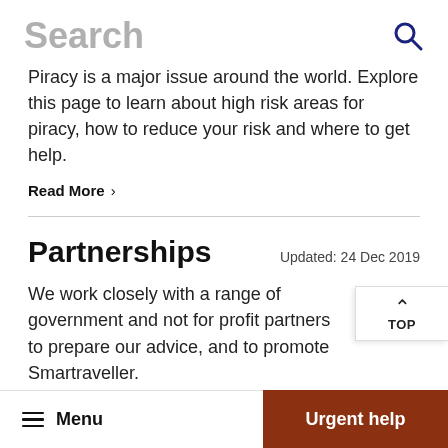Search
Piracy is a major issue around the world. Explore this page to learn about high risk areas for piracy, how to reduce your risk and where to get help.
Read More >
Partnerships
Updated: 24 Dec 2019
We work closely with a range of government and not for profit partners to prepare our advice, and to promote Smartraveller.
Menu   Urgent help